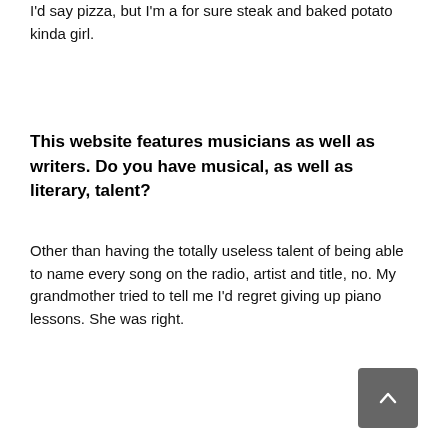I'd say pizza, but I'm a for sure steak and baked potato kinda girl.
This website features musicians as well as writers. Do you have musical, as well as literary, talent?
Other than having the totally useless talent of being able to name every song on the radio, artist and title, no. My grandmother tried to tell me I'd regret giving up piano lessons. She was right.